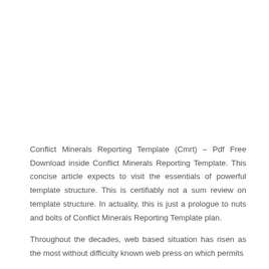Conflict Minerals Reporting Template (Cmrt) – Pdf Free Download inside Conflict Minerals Reporting Template. This concise article expects to visit the essentials of powerful template structure. This is certifiably not a sum review on template structure. In actuality, this is just a prologue to nuts and bolts of Conflict Minerals Reporting Template plan.
Throughout the decades, web based situation has risen as the most without difficulty known web press on which permits